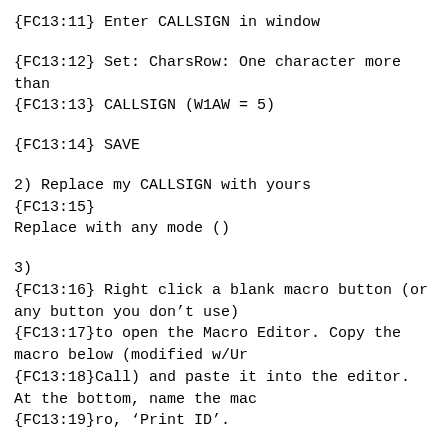{FC13:11} Enter CALLSIGN in window
{FC13:12} Set: CharsRow: One character more than
{FC13:13} CALLSIGN (W1AW = 5)
{FC13:14} SAVE
2) Replace my CALLSIGN with yours
{FC13:15}
Replace with any mode ()
3)
{FC13:16} Right click a blank macro button (or any button you don’t use)
{FC13:17}to open the Macro Editor. Copy the macro below (modified w/Ur
{FC13:18}Call) and paste it into the editor. At the bottom, name the mac
{FC13:19}ro, ‘Print ID’.
Be sure to click APPLY before leaving that bu